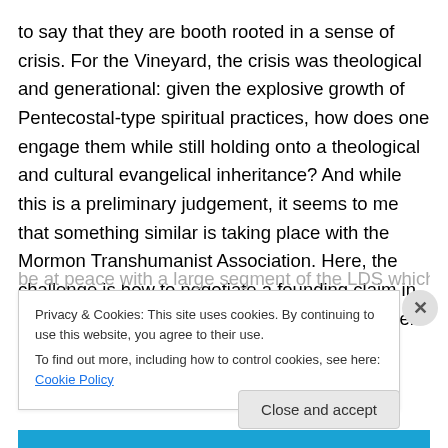to say that they are booth rooted in a sense of crisis. For the Vineyard, the crisis was theological and generational: given the explosive growth of Pentecostal-type spiritual practices, how does one engage them while still holding onto a theological and cultural evangelical inheritance? And while this is a preliminary judgement, it seems to me that something similar is taking place with the Mormon Transhumanist Association. Here, the challenge is how to negotiate a founding claim in Mormon thought that there is no tension between science and religion, with make that be at peace with a large segment of the LDS which is
Privacy & Cookies: This site uses cookies. By continuing to use this website, you agree to their use.
To find out more, including how to control cookies, see here: Cookie Policy
Close and accept